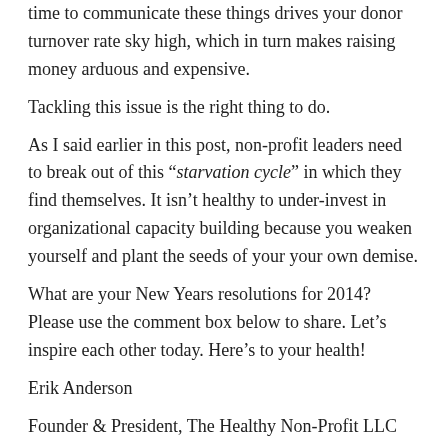time to communicate these things drives your donor turnover rate sky high, which in turn makes raising money arduous and expensive.
Tackling this issue is the right thing to do.
As I said earlier in this post, non-profit leaders need to break out of this “starvation cycle” in which they find themselves. It isn’t healthy to under-invest in organizational capacity building because you weaken yourself and plant the seeds of your your own demise.
What are your New Years resolutions for 2014? Please use the comment box below to share. Let’s inspire each other today. Here’s to your health!
Erik Anderson
Founder & President, The Healthy Non-Profit LLC
www.thehealthynonprofit.com
erik@thehealthynonprofit.com
http://twitter.com/#thea...847